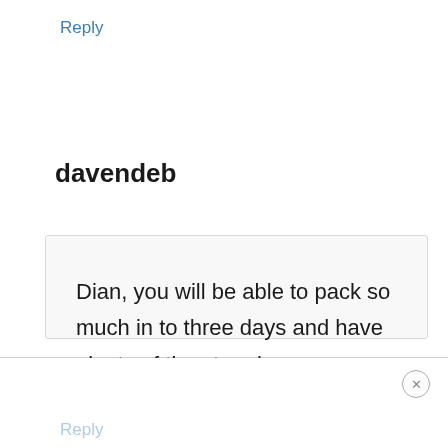Reply
davendeb
Dian, you will be able to pack so much in to three days and have plenty of time to relax.
Reply